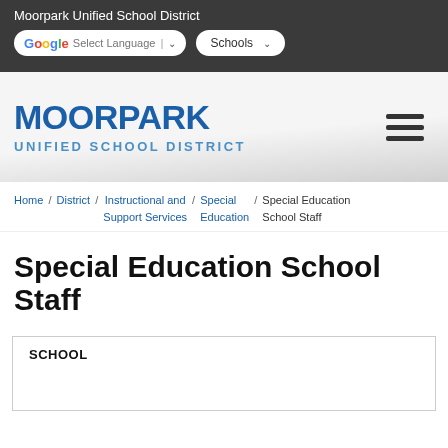Moorpark Unified School District
MOORPARK UNIFIED SCHOOL DISTRICT
Home / District / Instructional and Support Services / Special Education / Special Education School Staff
Special Education School Staff
| SCHOOL |
| --- |